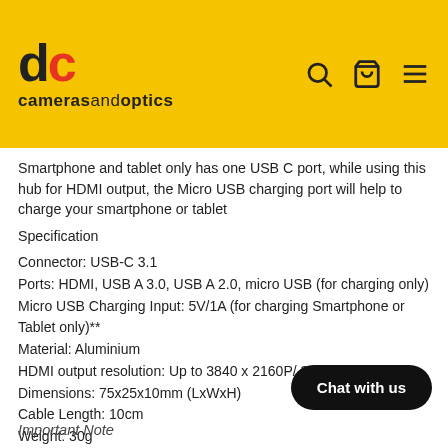cameras and optics
Smartphone and tablet only has one USB C port, while using this hub for HDMI output, the Micro USB charging port will help to charge your smartphone or tablet
Specification
Connector: USB-C 3.1
Ports: HDMI, USB A 3.0, USB A 2.0, micro USB (for charging only)
Micro USB Charging Input: 5V/1A (for charging Smartphone or Tablet only)**
Material: Aluminium
HDMI output resolution: Up to 3840 x 2160P/ 30Hz (4K*2K)
Dimensions: 75x25x10mm (LxWxH)
Cable Length: 10cm
Weight: 30g
Important Note